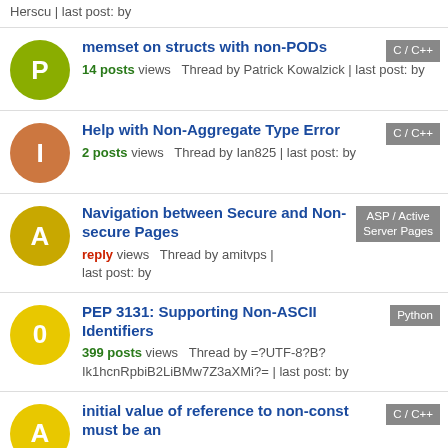Herscu | last post: by
memset on structs with non-PODs — C/C++ — 14 posts views Thread by Patrick Kowalzick | last post: by
Help with Non-Aggregate Type Error — C/C++ — 2 posts views Thread by Ian825 | last post: by
Navigation between Secure and Non-secure Pages — ASP / Active Server Pages — reply views Thread by amitvps | last post: by
PEP 3131: Supporting Non-ASCII Identifiers — Python — 399 posts views Thread by =?UTF-8?B? Ik1hcnRpbiB2LiBMw7Z3aXMi?= | last post: by
initial value of reference to non-const must be an... — C/C++